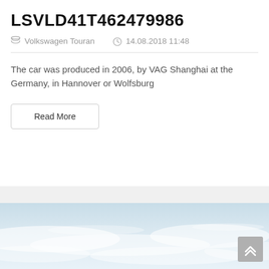LSVLD41T462479986
Volkswagen Touran   14.08.2018 11:48
The car was produced in 2006, by VAG Shanghai at the Germany, in Hannover or Wolfsburg
Read More
[Figure (photo): Sky/clouds background image at the bottom of the page with a scroll-to-top button overlay in the bottom right corner]